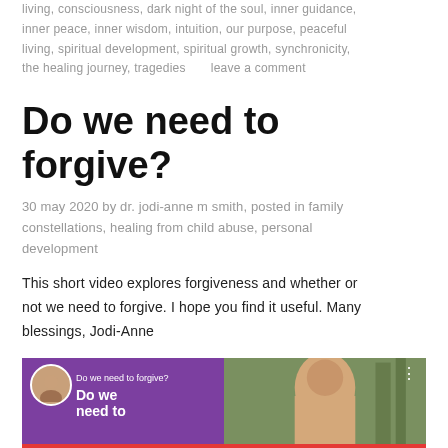living, consciousness, dark night of the soul, inner guidance, inner peace, inner wisdom, intuition, our purpose, peaceful living, spiritual development, spiritual growth, synchronicity, the healing journey, tragedies      leave a comment
Do we need to forgive?
30 may 2020 by dr. jodi-anne m smith, posted in family constellations, healing from child abuse, personal development
This short video explores forgiveness and whether or not we need to forgive. I hope you find it useful. Many blessings, Jodi-Anne
[Figure (screenshot): YouTube video thumbnail showing 'Do we need to forgive?' with a circular avatar of a woman on the left, purple background with white text 'Do we need to forgive? Do we need to', and a woman's face on the right side against a tree/outdoor background. Three dots menu visible top right. Red progress bar at bottom.]